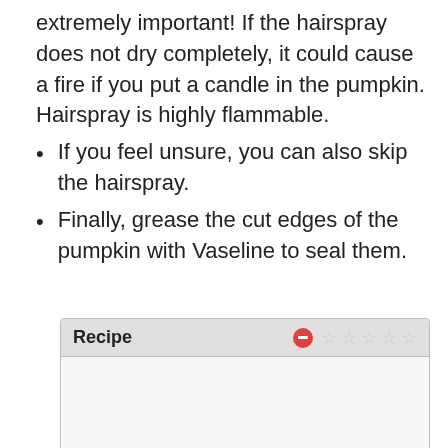extremely important! If the hairspray does not dry completely, it could cause a fire if you put a candle in the pumpkin. Hairspray is highly flammable.
If you feel unsure, you can also skip the hairspray.
Finally, grease the cut edges of the pumpkin with Vaseline to seal them.
| Recipe | Rating |
| --- | --- |
|  |  |